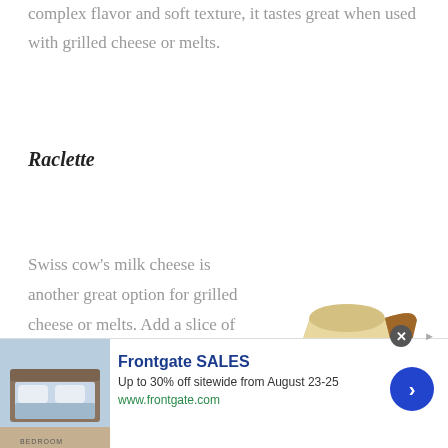complex flavor and soft texture, it tastes great when used with grilled cheese or melts.
Raclette
Swiss cow's milk cheese is another great option for grilled cheese or melts. Add a slice of cheese between white bread with a dash of butter for perfect crispiness. When used with other fillings in a melt, it
[Figure (photo): A wedge of Raclette cheese on a wooden board, photographed from above at an angle.]
Raclette Cheese
[Figure (infographic): Advertisement banner for Frontgate SALES. Shows a bedroom image on the left, bold blue text 'Frontgate SALES', subtitle 'Up to 30% off sitewide from August 23-25', URL www.frontgate.com in green, and a blue circular arrow button on the right. A close (x) button appears at top right.]